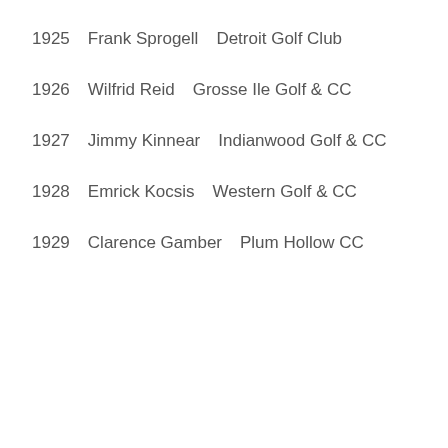1925   Frank Sprogell   Detroit Golf Club
1926   Wilfrid Reid   Grosse Ile Golf & CC
1927   Jimmy Kinnear   Indianwood Golf & CC
1928   Emrick Kocsis   Western Golf & CC
1929   Clarence Gamber   Plum Hollow CC